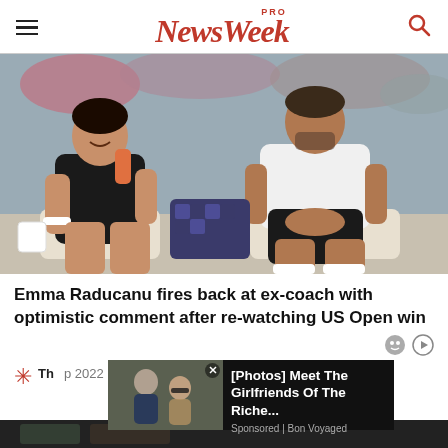NewsWeek PRO
[Figure (photo): Two people sitting in stadium seats — a woman in a black tennis dress holding a drink and laughing, and a man in a white t-shirt and black shorts with his hands clasped.]
Emma Raducanu fires back at ex-coach with optimistic comment after re-watching US Open win
Th... p 2022
[Figure (photo): Advertisement overlay showing two people at what appears to be a tennis event, with text: [Photos] Meet The Girlfriends Of The Riche... Sponsored | Bon Voyaged]